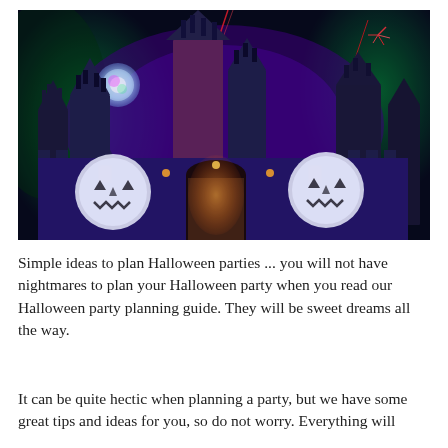[Figure (photo): A Halloween-themed Disneyland castle at night, lit with purple, blue, red and green lights, fireworks in background, jack-o-lantern projections on the castle towers, illuminated archway entrance]
Simple ideas to plan Halloween parties ... you will not have nightmares to plan your Halloween party when you read our Halloween party planning guide. They will be sweet dreams all the way.
It can be quite hectic when planning a party, but we have some great tips and ideas for you, so do not worry. Everything will